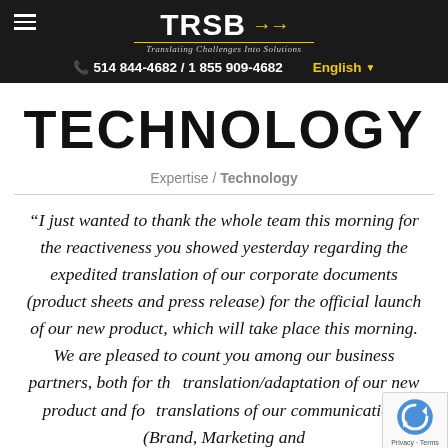TRSB — Translating Challenges Into Solutions | 514 844-4682 / 1 855 909-4682 | English
TECHNOLOGY
Expertise / Technology
“I just wanted to thank the whole team this morning for the reactiveness you showed yesterday regarding the expedited translation of our corporate documents (product sheets and press release) for the official launch of our new product, which will take place this morning. We are pleased to count you among our business partners, both for the translation/adaptation of our new product and for translations of our communications (Brand, Marketing and